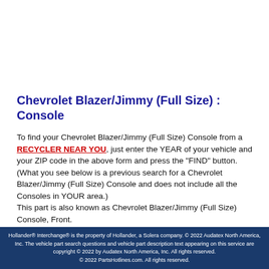Chevrolet Blazer/Jimmy (Full Size) : Console
To find your Chevrolet Blazer/Jimmy (Full Size) Console from a RECYCLER NEAR YOU, just enter the YEAR of your vehicle and your ZIP code in the above form and press the "FIND" button. (What you see below is a previous search for a Chevrolet Blazer/Jimmy (Full Size) Console and does not include all the Consoles in YOUR area.)
This part is also known as Chevrolet Blazer/Jimmy (Full Size) Console, Front.
Hollander® Interchange® is the property of Hollander, a Solera company. © 2022 Audatex North America, Inc. The vehicle part search questions and vehicle part description text appearing on this service are copyright © 2022 by Audatex North America, Inc. All rights reserved. © 2022 PartsHotlines.com. All rights reserved.